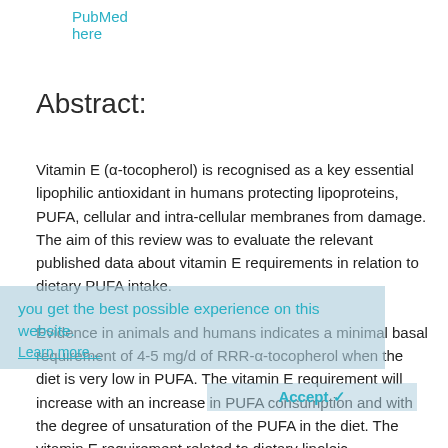PubMed here
Abstract:
Vitamin E (α-tocopherol) is recognised as a key essential lipophilic antioxidant in humans protecting lipoproteins, PUFA, cellular and intra-cellular membranes from damage. The aim of this review was to evaluate the relevant published data about vitamin E requirements in relation to dietary PUFA intake. Evidence in animals and humans indicates a minimal basal requirement of 4-5 mg/d of RRR-α-tocopherol when the diet is very low in PUFA. The vitamin E requirement will increase with an increase in PUFA consumption and with the degree of unsaturation of the PUFA in the diet. The vitamin E requirement related to dietary linoleic
We use cookies to help provide and enhance our service and tailor content and ads. By continuing you agree to the use of cookies. you get the best possible experience on this website.
Learn more...
Accept ✓